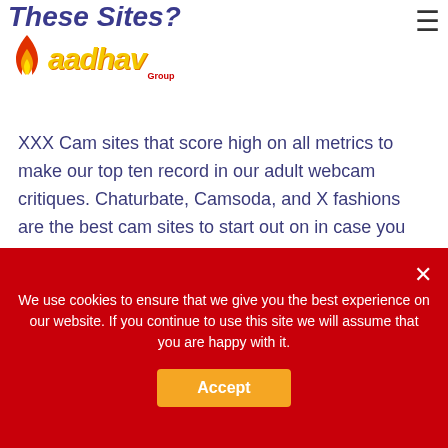These Sites? Aadhav Group
XXX Cam sites that score high on all metrics to make our top ten record in our adult webcam critiques. Chaturbate, Camsoda, and X fashions are the best cam sites to start out on in case you are a pure newbie. Four, other than getting paid to be a webcam mannequin, you can even earn cash on this site in extra ways. Cam sites can be classified as one of the best cam sites relying on the following factors.
We use cookies to ensure that we give you the best experience on our website. If you continue to use this site we will assume that you are happy with it.
Accept